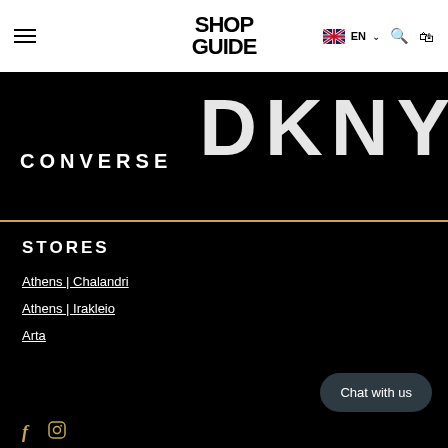ShopGuide — EN navigation bar
[Figure (logo): ShopGuide logo in black text on white navigation bar]
[Figure (logo): CONVERSE logo in white text on black banner, with partial DKNY logo visible on right]
STORES
Athens | Chalandri
Athens | Irakleio
Arta
Chat with us